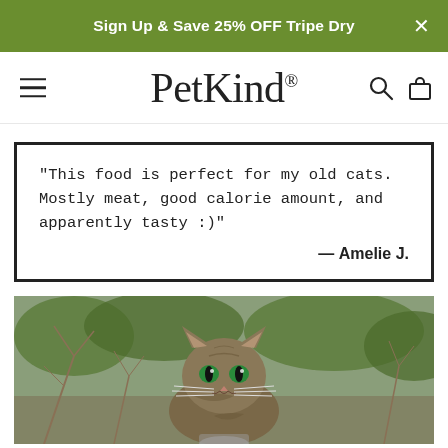Sign Up & Save 25% OFF Tripe Dry
PetKind
"This food is perfect for my old cats. Mostly meat, good calorie amount, and apparently tasty :)" — Amelie J.
[Figure (photo): A tabby cat with green eyes sitting outdoors among dry grass and twigs with green foliage in the background.]